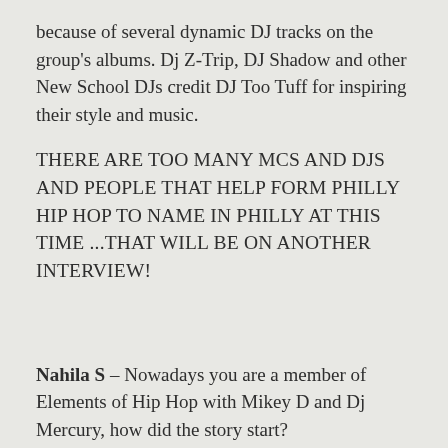because of several dynamic DJ tracks on the group's albums. Dj Z-Trip, DJ Shadow and other New School DJs credit DJ Too Tuff for inspiring their style and music.
THERE ARE TOO MANY MCS AND DJS AND PEOPLE THAT HELP FORM PHILLY HIP HOP TO NAME IN PHILLY AT THIS TIME ...THAT WILL BE ON ANOTHER INTERVIEW!
Nahila S – Nowadays you are a member of Elements of Hip Hop with Mikey D and Dj Mercury, how did the story start?
DJ Grand Wizard Rasheen – I was doing shows with Cash Money and Mercury, saw one of the videos that